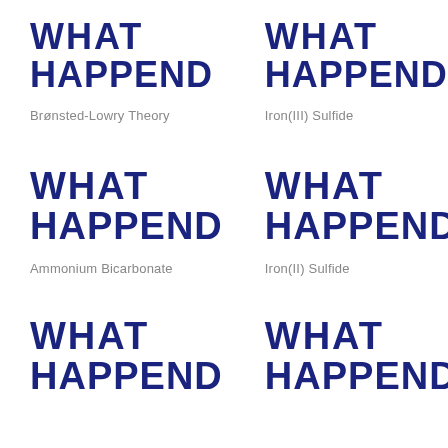[Figure (illustration): WHAT HAPPEND in dark navy bold uppercase text]
Brønsted-Lowry Theory
[Figure (illustration): WHAT HAPPEND in dark navy bold uppercase text]
Iron(III) Sulfide
[Figure (illustration): WHAT HAPPEND in dark navy bold uppercase text]
Ammonium Bicarbonate
[Figure (illustration): WHAT HAPPEND in dark navy bold uppercase text]
Iron(II) Sulfide
[Figure (illustration): WHAT HAPPEND in dark navy bold uppercase text]
[Figure (illustration): WHAT HAPPEND in dark navy bold uppercase text]